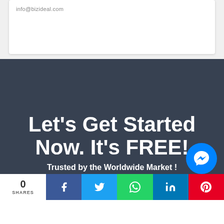info@bizideal.com
Let's Get Started Now. It's FREE!
Trusted by the Worldwide Market !
0 SHARES | Facebook | Twitter | WhatsApp | LinkedIn | Pinterest